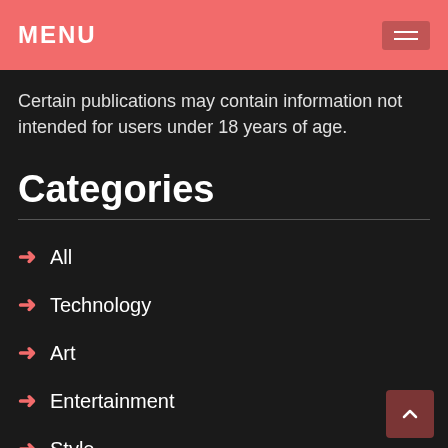MENU
Certain publications may contain information not intended for users under 18 years of age.
Categories
→ All
→ Technology
→ Art
→ Entertainment
→ Style